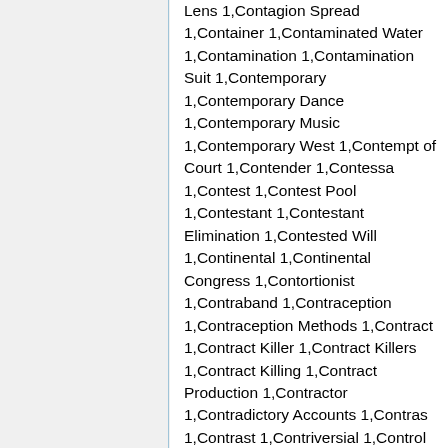Lens 1,Contagion Spread 1,Container 1,Contaminated Water 1,Contamination 1,Contamination Suit 1,Contemporary 1,Contemporary Dance 1,Contemporary Music 1,Contemporary West 1,Contempt of Court 1,Contender 1,Contessa 1,Contest 1,Contest Pool 1,Contestant 1,Contestant Elimination 1,Contested Will 1,Continental 1,Continental Congress 1,Contortionist 1,Contraband 1,Contraception 1,Contraception Methods 1,Contract 1,Contract Killer 1,Contract Killers 1,Contract Killing 1,Contract Production 1,Contractor 1,Contradictory Accounts 1,Contras 1,Contrast 1,Contriversial 1,Control 1,Control Freak 1,Control Panel 1,Control Tower 1,Controlled Environment 1,Controversial 1,Controversial Artist 1,Controversial Subject 1,Controversy 1,Convention